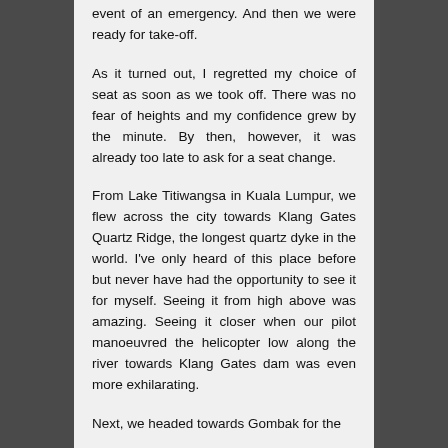event of an emergency. And then we were ready for take-off.
As it turned out, I regretted my choice of seat as soon as we took off. There was no fear of heights and my confidence grew by the minute. By then, however, it was already too late to ask for a seat change.
From Lake Titiwangsa in Kuala Lumpur, we flew across the city towards Klang Gates Quartz Ridge, the longest quartz dyke in the world. I've only heard of this place before but never have had the opportunity to see it for myself. Seeing it from high above was amazing. Seeing it closer when our pilot manoeuvred the helicopter low along the river towards Klang Gates dam was even more exhilarating.
Next, we headed towards Gombak for the